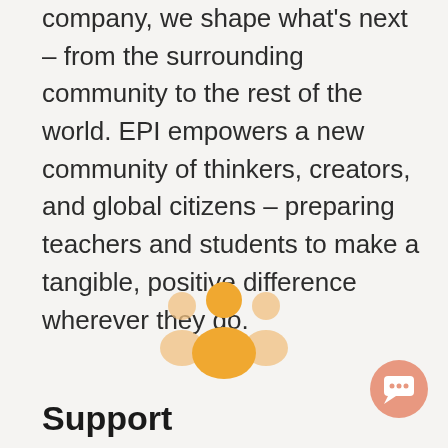company, we shape what's next – from the surrounding community to the rest of the world. EPI empowers a new community of thinkers, creators, and global citizens – preparing teachers and students to make a tangible, positive difference wherever they go.
[Figure (illustration): Orange group/community icon showing three stylized people figures]
[Figure (illustration): Round salmon/orange chat bubble button icon in bottom right corner]
Support